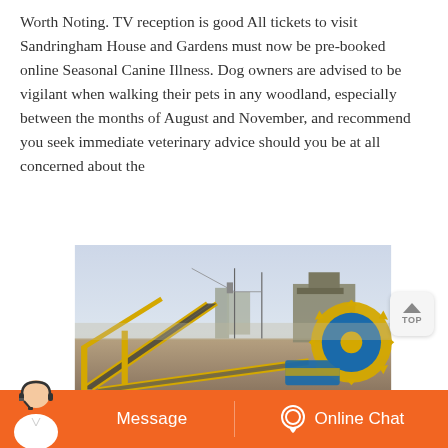Worth Noting. TV reception is good All tickets to visit Sandringham House and Gardens must now be pre-booked online Seasonal Canine Illness. Dog owners are advised to be vigilant when walking their pets in any woodland, especially between the months of August and November, and recommend you seek immediate veterinary advice should you be at all concerned about the
[Figure (photo): Industrial outdoor scene showing conveyor belts with yellow metal framework, machinery including a large yellow gear wheel on the right, industrial buildings and structures in the background under a hazy sky.]